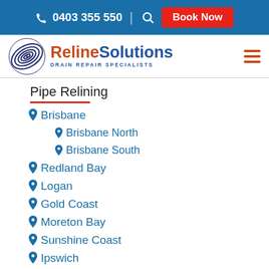0403 355 550 | Book Now
[Figure (logo): Reline Solutions Drain Repair Specialists logo with spiral graphic]
Pipe Relining
Brisbane
Brisbane North
Brisbane South
Redland Bay
Logan
Gold Coast
Moreton Bay
Sunshine Coast
Ipswich